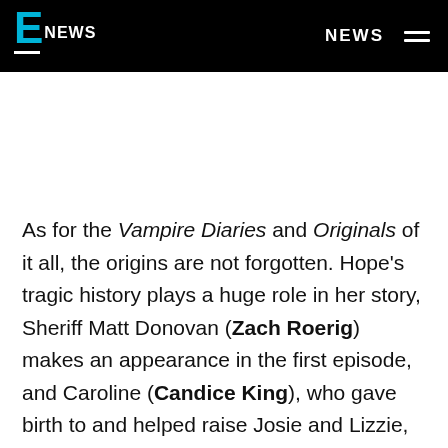E NEWS | NEWS
As for the Vampire Diaries and Originals of it all, the origins are not forgotten. Hope's tragic history plays a huge role in her story, Sheriff Matt Donovan (Zach Roerig) makes an appearance in the first episode, and Caroline (Candice King), who gave birth to and helped raise Josie and Lizzie, is mentioned and will continue to be mentioned.
"You'll feel her presence as we talk about her," Davis